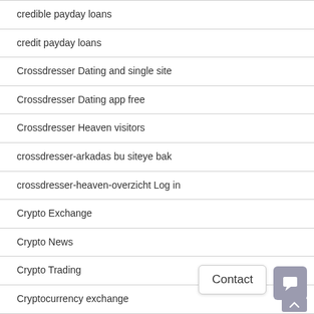credible payday loans
credit payday loans
Crossdresser Dating and single site
Crossdresser Dating app free
Crossdresser Heaven visitors
crossdresser-arkadas bu siteye bak
crossdresser-heaven-overzicht Log in
Crypto Exchange
Crypto News
Crypto Trading
Cryptocurrency exchange
Cuckold Dating review